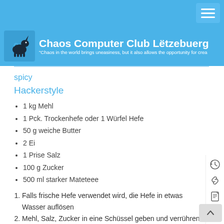Chaos Computer Club Lëtzebuerg — "Chaos in the world brings uneasiness, but it also allows the opportunity for crea...
spicy
Hackerstyle
1 kg Mehl
1 Pck. Trockenhefe oder 1 Würfel Hefe
50 g weiche Butter
2 Ei
1 Prise Salz
100 g Zucker
500 ml starker Mateteee
1. Falls frische Hefe verwendet wird, die Hefe in etwas Wasser auflösen
2. Mehl, Salz, Zucker in eine Schüssel geben und verrühren
3. Die hälfte des Matetees einrühren
4. Butter und Ei dazugeben
5. Restlichen Mateteee und Hefe hinzufügen und